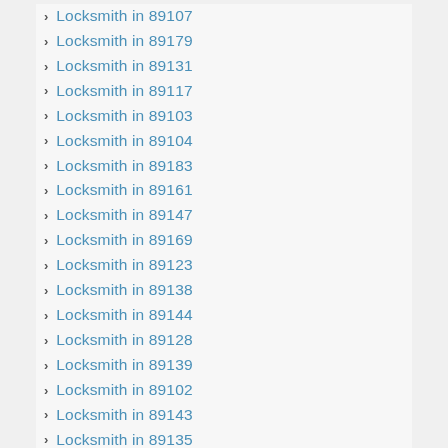Locksmith in 89107
Locksmith in 89179
Locksmith in 89131
Locksmith in 89117
Locksmith in 89103
Locksmith in 89104
Locksmith in 89183
Locksmith in 89161
Locksmith in 89147
Locksmith in 89169
Locksmith in 89123
Locksmith in 89138
Locksmith in 89144
Locksmith in 89128
Locksmith in 89139
Locksmith in 89102
Locksmith in 89143
Locksmith in 89135
Locksmith in 89130
Locksmith in 89115
Locksmith in 89146
Locksmith in 89148
Locksmith in 89106
Locksmith in 89134